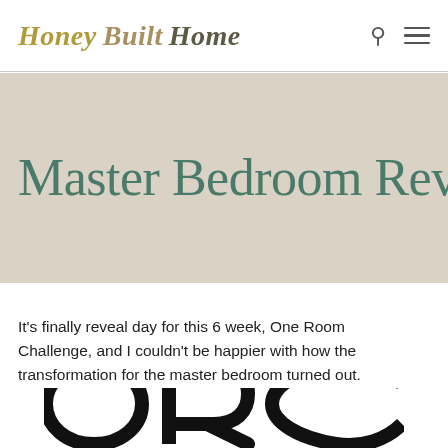Honey Built Home
Master Bedroom Reveal
It's finally reveal day for this 6 week, One Room Challenge, and I couldn't be happier with how the transformation for the master bedroom turned out.
[Figure (logo): Partial ORC (One Room Challenge) logo in large black letters, partially cropped at bottom of page]